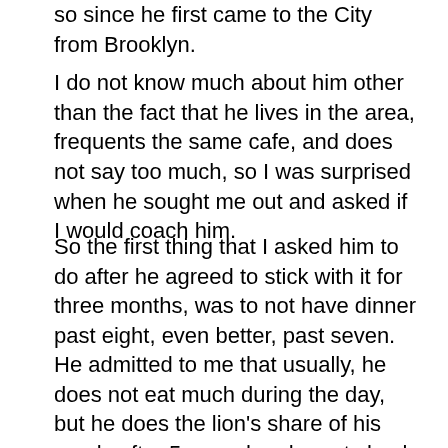so since he first came to the City from Brooklyn.
I do not know much about him other than the fact that he lives in the area, frequents the same cafe, and does not say too much, so I was surprised when he sought me out and asked if I would coach him.
So the first thing that I asked him to do after he agreed to stick with it for three months, was to not have dinner past eight, even better, past seven.
He admitted to me that usually, he does not eat much during the day, but he does the lion's share of his meals after 5 pm, when he gets back from work, till eleven, sometimes even midnight!